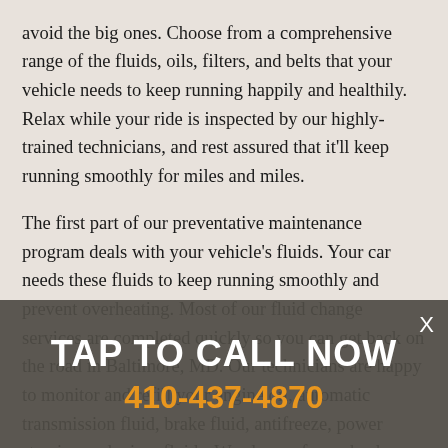avoid the big ones. Choose from a comprehensive range of the fluids, oils, filters, and belts that your vehicle needs to keep running happily and healthily. Relax while your ride is inspected by our highly-trained technicians, and rest assured that it'll keep running smoothly for miles and miles.
The first part of our preventative maintenance program deals with your vehicle's fluids. Your car needs these fluids to keep running smoothly and prevent overheating. Most of our fluid change services are completed quickly so you can get back on the road in Baltimore, MD. Our technicians are happy to monitor and refill your engine oil, automatic transmission fluid, brake fluid, antifreeze, power steering and wiper fluids. We also perform checks on your radiator to ensure there are no small leaks caused by stones and other road debris.
TAP TO CALL NOW
410-437-4870